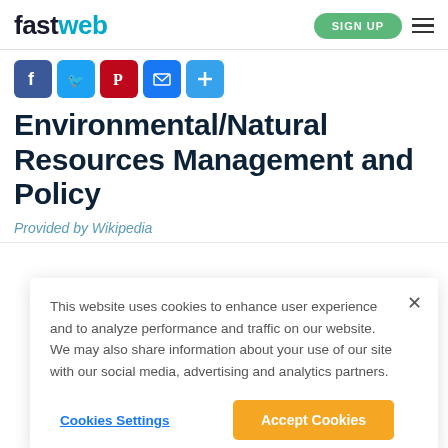fastweb | SIGN UP
[Figure (infographic): Social sharing icons: Facebook (blue), Twitter (light blue), Pinterest (red), Email (blue), More/Plus (blue)]
Environmental/Natural Resources Management and Policy
Provided by Wikipedia
This website uses cookies to enhance user experience and to analyze performance and traffic on our website. We may also share information about your use of our site with our social media, advertising and analytics partners.
Cookies Settings | Accept Cookies